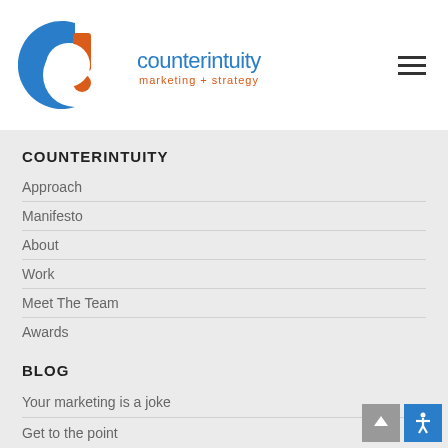[Figure (logo): Counterintuity marketing + strategy logo with blue C and orange exclamation mark]
COUNTERINTUITY
Approach
Manifesto
About
Work
Meet The Team
Awards
BLOG
Your marketing is a joke
Get to the point